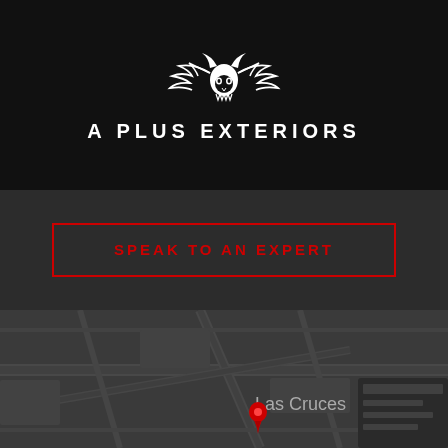[Figure (logo): A Plus Exteriors logo with decorative tribal/dragon skull ornament above the text]
A PLUS EXTERIORS
SPEAK TO AN EXPERT
[Figure (map): Dark-themed Google Map showing Las Cruces with a red location pin marker and a partially visible map overlay panel on the right]